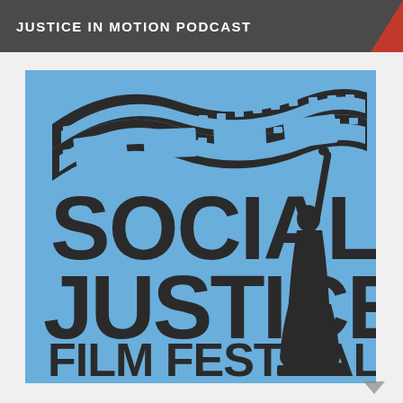JUSTICE IN MOTION PODCAST
[Figure (logo): Social Justice Film Festival logo on a blue background. Features a waving film strip at the top held aloft by a silhouetted figure resembling a statue/liberty figure on the right side. Bold dark text reads SOCIAL JUSTICE FILM FESTIVAL.]